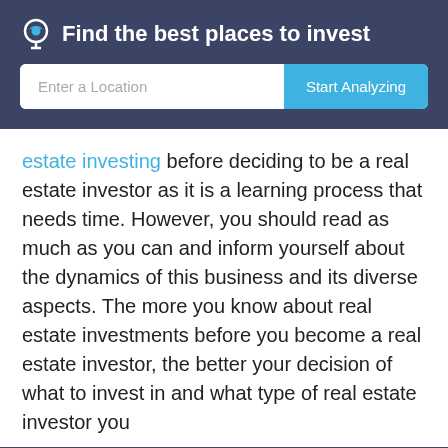Find the best places to invest
[Figure (screenshot): Search bar with 'Enter a Location' placeholder and 'Start Analyzing' button]
estate investing before deciding to be a real estate investor as it is a learning process that needs time. However, you should read as much as you can and inform yourself about the dynamics of this business and its diverse aspects. The more you know about real estate investments before you become a real estate investor, the better your decision of what to invest in and what type of real estate investor you
Mashvisor uses cookies to provide necessary site functionality and improve your experience. By browsing our website, you consent to our use of cookies. To learn more please refer to our cookie policy
Accept  Reject